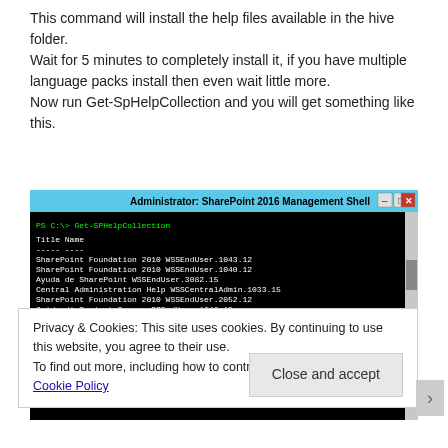This command will install the help files available in the hive folder.
Wait for 5 minutes to completely install it, if you have multiple language packs install then even wait little more.
Now run Get-SpHelpCollection and you will get something like this.
[Figure (screenshot): Administrator: SharePoint 2016 Management Shell window showing output of Get-SPHelpCollection command with Title and Name columns listing various SharePoint help collections]
Privacy & Cookies: This site uses cookies. By continuing to use this website, you agree to their use.
To find out more, including how to control cookies, see here: Cookie Policy
Close and accept